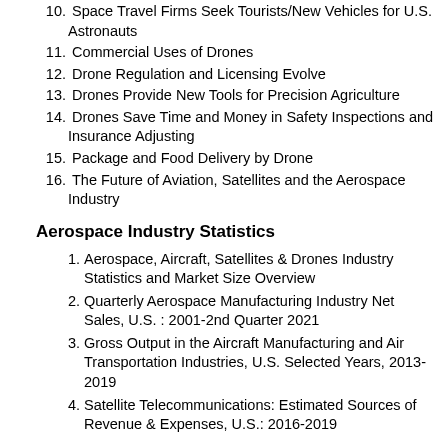10. Space Travel Firms Seek Tourists/New Vehicles for U.S. Astronauts
11. Commercial Uses of Drones
12. Drone Regulation and Licensing Evolve
13. Drones Provide New Tools for Precision Agriculture
14. Drones Save Time and Money in Safety Inspections and Insurance Adjusting
15. Package and Food Delivery by Drone
16. The Future of Aviation, Satellites and the Aerospace Industry
Aerospace Industry Statistics
1. Aerospace, Aircraft, Satellites & Drones Industry Statistics and Market Size Overview
2. Quarterly Aerospace Manufacturing Industry Net Sales, U.S. : 2001-2nd Quarter 2021
3. Gross Output in the Aircraft Manufacturing and Air Transportation Industries, U.S. Selected Years, 2013-2019
4. Satellite Telecommunications: Estimated Sources of Revenue & Expenses, U.S.: 2016-2019